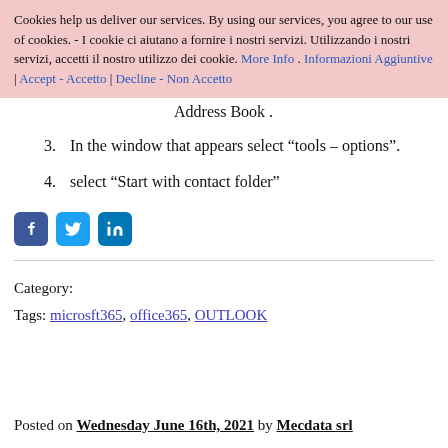Cookies help us deliver our services. By using our services, you agree to our use of cookies. - I cookie ci aiutano a fornire i nostri servizi. Utilizzando i nostri servizi, accetti il nostro utilizzo dei cookie. More Info . Informazioni Aggiuntive | Accept - Accetto | Decline - Non Accetto
Address Book .
In the window that appears select “tools – options”.
select “Start with contact folder”
[Figure (infographic): Social media sharing icons: Facebook (blue), Twitter (blue), LinkedIn (blue)]
Category:
Tags: microsft365, office365, OUTLOOK
Posted on Wednesday June 16th, 2021 by Mecdata srl